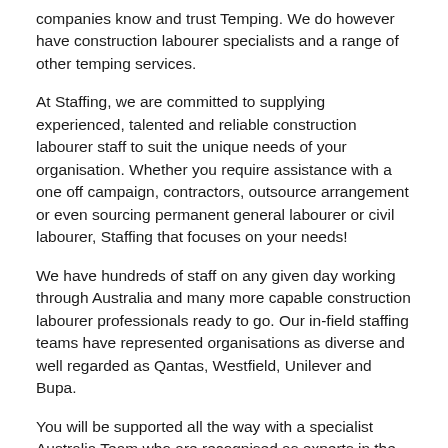companies know and trust Temping. We do however have construction labourer specialists and a range of other temping services.
At Staffing, we are committed to supplying experienced, talented and reliable construction labourer staff to suit the unique needs of your organisation. Whether you require assistance with a one off campaign, contractors, outsource arrangement or even sourcing permanent general labourer or civil labourer, Staffing that focuses on your needs!
We have hundreds of staff on any given day working through Australia and many more capable construction labourer professionals ready to go. Our in-field staffing teams have represented organisations as diverse and well regarded as Qantas, Westfield, Unilever and Bupa.
You will be supported all the way with a specialist Australia Team who are recognised as experts in the areas of construction labourer. Staffing's has specialist teams, including government, digital producer or